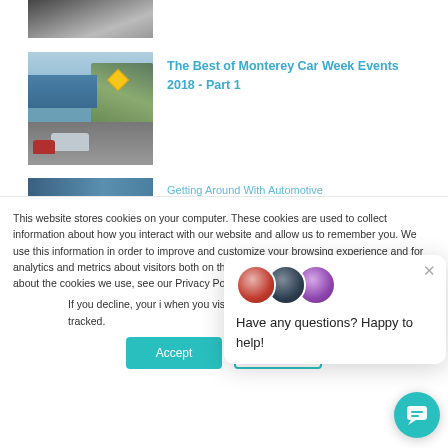[Figure (photo): Partial top image of a dark vehicle, cropped at top of page]
[Figure (photo): Classic convertible sports cars driving on a coastal road with mountains in background; yellow curve warning sign visible]
The Best of Monterey Car Week Events 2018 - Part 1
[Figure (photo): Partial blue-toned thumbnail of another article, visible at bottom]
This website stores cookies on your computer. These cookies are used to collect information about how you interact with our website and allow us to remember you. We use this information in order to improve and customize your browsing experience and for analytics and metrics about visitors both on this website and other media. To find out more about the cookies we use, see our Privacy Policy.
If you decline, your information won't be tracked when you visit this website. A single cookie will be used in your browser to remember your preference not to be tracked.
[Figure (photo): Three circular avatar photos of support staff overlapping]
Have any questions? Happy to help!
Accept
Decline